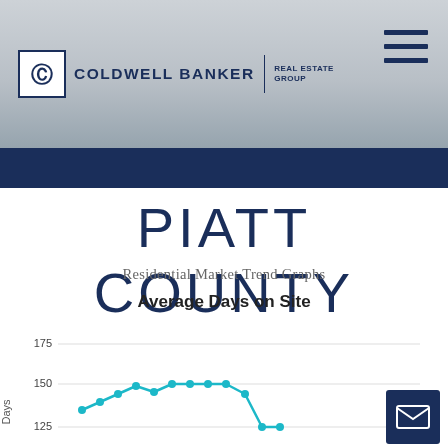[Figure (logo): Coldwell Banker Real Estate Group logo with CB icon]
PIATT COUNTY
Residential Market Trend Graphs
Average Days on Site
[Figure (line-chart): Partial line chart showing Average Days on Site. Y-axis shows values 125, 150, 175. Line in teal shows a peak around 150 days then declining. Chart is cropped at the bottom of the page.]